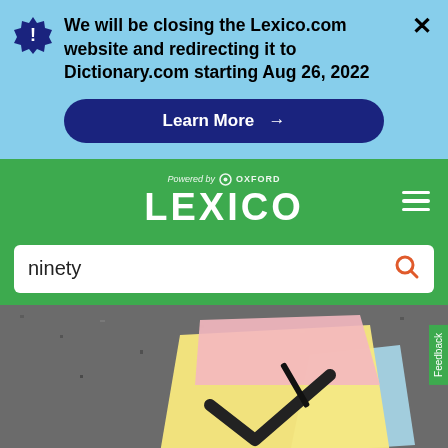We will be closing the Lexico.com website and redirecting it to Dictionary.com starting Aug 26, 2022
Learn More →
[Figure (logo): Lexico logo powered by Oxford]
ninety
[Figure (photo): Colorful sticky notes (pink, yellow, blue) fanned out on a dark granite background, with a black checkmark drawn on the front note]